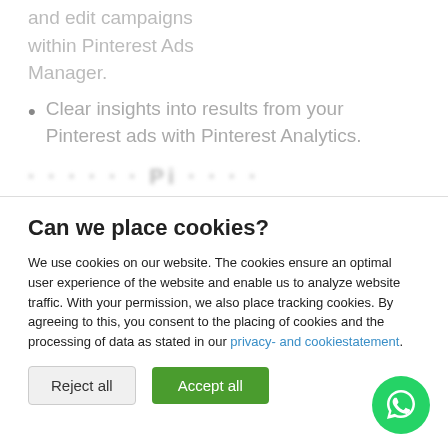and edit campaigns within Pinterest Ads Manager.
Clear insights into results from your Pinterest ads with Pinterest Analytics.
Can we place cookies?
We use cookies on our website. The cookies ensure an optimal user experience of the website and enable us to analyze website traffic. With your permission, we also place tracking cookies. By agreeing to this, you consent to the placing of cookies and the processing of data as stated in our privacy- and cookiestatement.
Reject all
Accept all